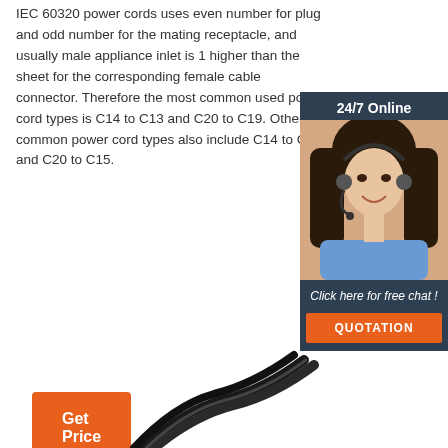IEC 60320 power cords uses even number for plug and odd number for the mating receptacle, and usually male appliance inlet is 1 higher than the sheet for the corresponding female cable connector. Therefore the most common used power cord types is C14 to C13 and C20 to C19. Other common power cord types also include C14 to C15 and C20 to C15.
[Figure (other): Orange 'Get Price' button]
[Figure (photo): 24/7 online chat widget showing a woman with headset, 'Click here for free chat!' text, and orange QUOTATION button]
[Figure (photo): Black power cord cables at the bottom of the page]